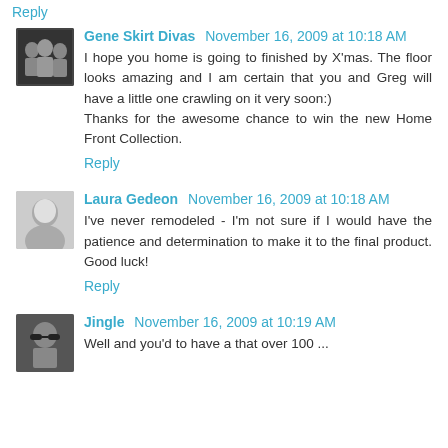Reply
Gene Skirt Divas  November 16, 2009 at 10:18 AM
I hope you home is going to finished by X'mas. The floor looks amazing and I am certain that you and Greg will have a little one crawling on it very soon:)
Thanks for the awesome chance to win the new Home Front Collection.
Reply
Laura Gedeon  November 16, 2009 at 10:18 AM
I've never remodeled - I'm not sure if I would have the patience and determination to make it to the final product. Good luck!
Reply
Jingle  November 16, 2009 at 10:19 AM
Well and you'd to have a that over 100 ...